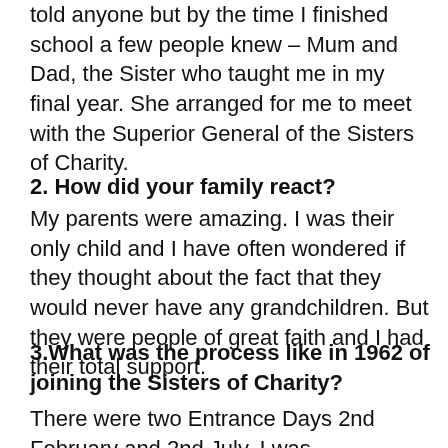told anyone but by the time I finished school a few people knew – Mum and Dad, the Sister who taught me in my final year. She arranged for me to meet with the Superior General of the Sisters of Charity.
2. How did your family react?
My parents were amazing. I was their only child and I have often wondered if they thought about the fact that they would never have any grandchildren. But they were people of great faith and I had their total support.
3.What was the process like in 1962 of joining the Sisters of Charity?
There were two Entrance Days 2nd February and 2nd July. I was encouraged to